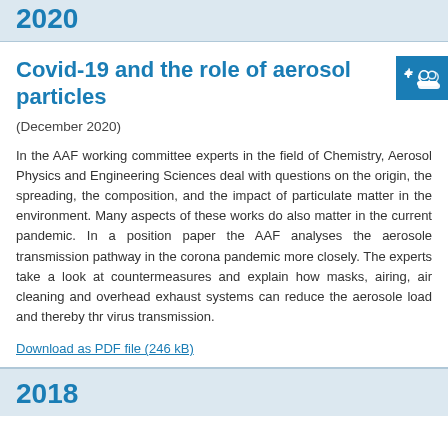2020
Covid-19 and the role of aerosol particles
(December 2020)
In the AAF working committee experts in the field of Chemistry, Aerosol Physics and Engineering Sciences deal with questions on the origin, the spreading, the composition, and the impact of particulate matter in the environment. Many aspects of these works do also matter in the current pandemic. In a position paper the AAF analyses the aerosole transmission pathway in the corona pandemic more closely. The experts take a look at countermeasures and explain how masks, airing, air cleaning and overhead exhaust systems can reduce the aerosole load and thereby thr virus transmission.
Download as PDF file (246 kB)
2018